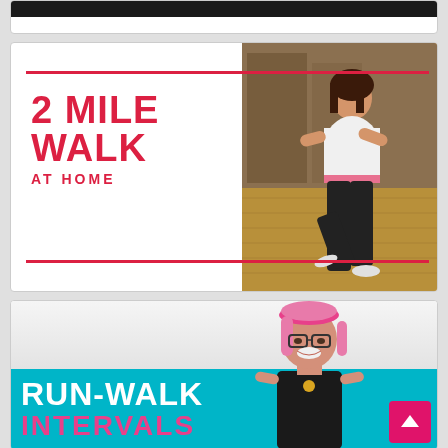[Figure (screenshot): Partial card at top showing dark/black banner strip]
[Figure (screenshot): 2 Mile Walk At Home fitness video thumbnail card with red text and horizontal red lines, woman exercising on wooden floor]
[Figure (screenshot): Run-Walk Intervals fitness video thumbnail card with teal banner, white bold text, woman with pink hair and glasses smiling, pink scroll-to-top button]